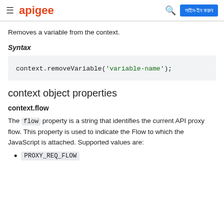apigee | সাইন-ইন করুন
Removes a variable from the context.
Syntax
context object properties
context.flow
The flow property is a string that identifies the current API proxy flow. This property is used to indicate the Flow to which the JavaScript is attached. Supported values are:
PROXY_REQ_FLOW